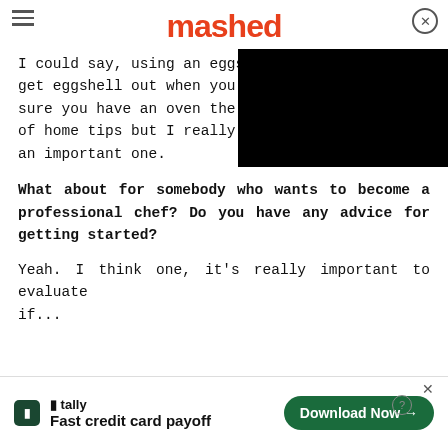mashed
I could say, using an eggshe... get eggshell out when you... sure you have an oven the... of home tips but I really t... an important one.
[Figure (other): Black video player overlay covering right portion of article text]
What about for somebody who wants to become a professional chef? Do you have any advice for getting started?
Yeah. I think one, it's really important to evaluate if...
[Figure (other): Advertisement banner for Tally app - Fast credit card payoff with Download Now button]